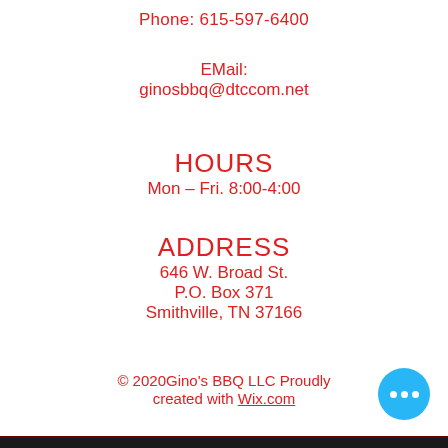Phone: 615-597-6400
EMail:
ginosbbq@dtccom.net
HOURS
Mon – Fri. 8:00-4:00
ADDRESS
646 W. Broad St.
P.O. Box 371
Smithville, TN 37166
© 2020Gino's BBQ LLC Proudly created with Wix.com